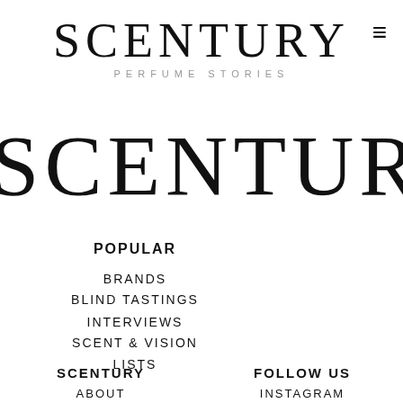SCENTURY PERFUME STORIES
[Figure (logo): Large decorative SCENTURY logo text partially cropped, forming a background watermark]
POPULAR
BRANDS
BLIND TASTINGS
INTERVIEWS
SCENT & VISION
LISTS
SCENTURY
ABOUT
FOLLOW US
INSTAGRAM